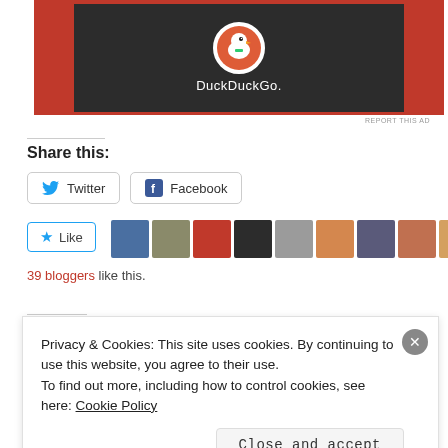[Figure (logo): DuckDuckGo advertisement banner with orange background, dark panel, duck logo in white circle, and white DuckDuckGo. text]
REPORT THIS AD
Share this:
Twitter
Facebook
Like
[Figure (photo): Row of blogger avatar thumbnails (10 avatars shown)]
39 bloggers like this.
Related
Privacy & Cookies: This site uses cookies. By continuing to use this website, you agree to their use.
To find out more, including how to control cookies, see here: Cookie Policy
Close and accept
REPORT THIS AD